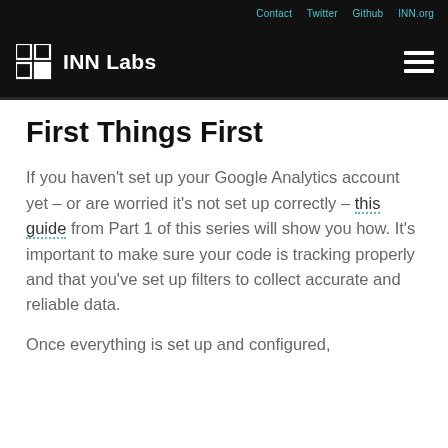Contact  Twitter  Github  INN.org
[Figure (logo): INN Labs logo with grid icon and text 'INN Labs' on black background, with hamburger menu icon on the right]
First Things First
If you haven't set up your Google Analytics account yet – or are worried it's not set up correctly – this guide from Part 1 of this series will show you how. It's important to make sure your code is tracking properly and that you've set up filters to collect accurate and reliable data.
Once everything is set up and configured,